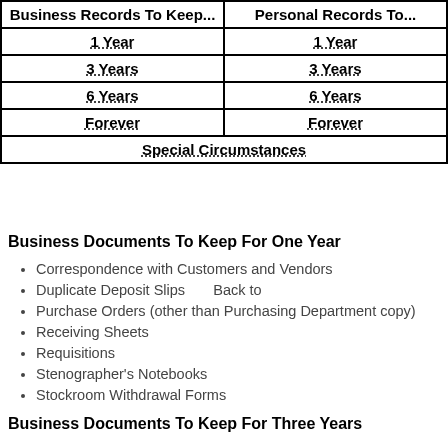| Business Records To Keep... | Personal Records To... |
| --- | --- |
| 1 Year | 1 Year |
| 3 Years | 3 Years |
| 6 Years | 6 Years |
| Forever | Forever |
| Special Circumstances |  |
Business Documents To Keep For One Year
Correspondence with Customers and Vendors
Duplicate Deposit Slips       Back to
Purchase Orders (other than Purchasing Department copy)
Receiving Sheets
Requisitions
Stenographer's Notebooks
Stockroom Withdrawal Forms
Business Documents To Keep For Three Years